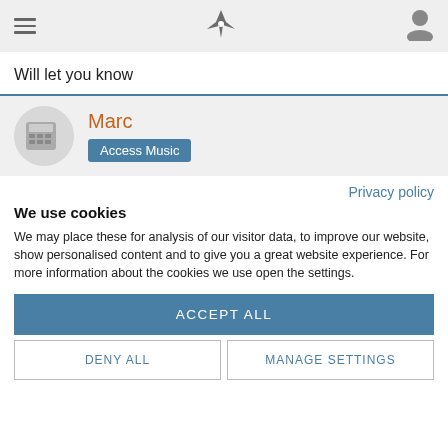Navigation bar with hamburger menu, logo, and user icon
Will let you know
Marc
Access Music
Privacy policy
We use cookies
We may place these for analysis of our visitor data, to improve our website, show personalised content and to give you a great website experience. For more information about the cookies we use open the settings.
ACCEPT ALL
DENY ALL
MANAGE SETTINGS